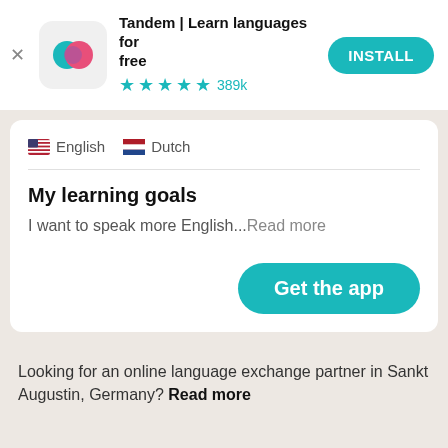[Figure (screenshot): Tandem app icon: teal and pink speech bubble circles overlapping on light gray rounded square background]
Tandem | Learn languages for free
★★★★½ 389k
INSTALL
🇺🇸 English   🇳🇱 Dutch
My learning goals
I want to speak more English...Read more
Get the app
Looking for an online language exchange partner in Sankt Augustin, Germany?  Read more